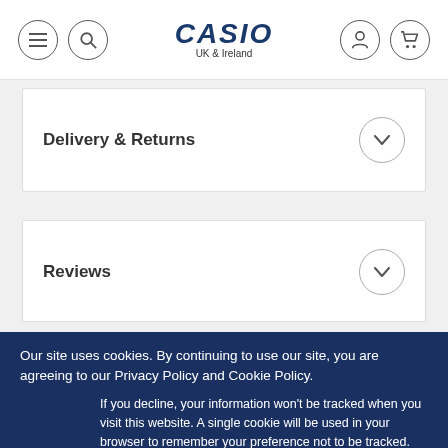[Figure (logo): Casio logo with menu, search, user and cart icons in header navigation bar. Text: CASIO UK & Ireland]
Delivery & Returns
Reviews
Our site uses cookies. By continuing to use our site, you are agreeing to our Privacy Policy and Cookie Policy.
If you decline, your information won't be tracked when you visit this website. A single cookie will be used in your browser to remember your preference not to be tracked.
Accept and close
Decline